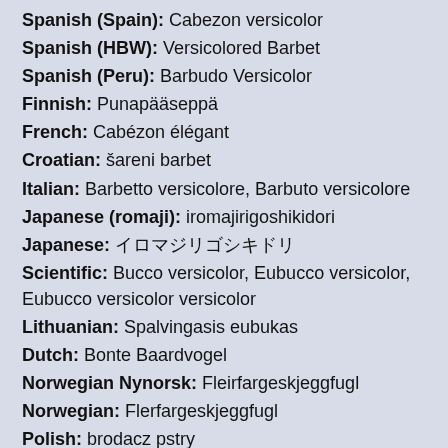Spanish (Spain): Cabezon versicolor
Spanish (HBW): Versicolored Barbet
Spanish (Peru): Barbudo Versicolor
Finnish: Punapääseppä
French: Cabézon élégant
Croatian: šareni barbet
Italian: Barbetto versicolore, Barbuto versicolore
Japanese (romaji): iromajirigoshikidori
Japanese: イロマジリゴシキドリ
Scientific: Bucco versicolor, Eubucco versicolor, Eubucco versicolor versicolor
Lithuanian: Spalvingasis eubukas
Dutch: Bonte Baardvogel
Norwegian Nynorsk: Fleirfargeskjeggfugl
Norwegian: Flerfargeskjeggfugl
Polish: brodacz pstry
Portuguese: capitão-variegado
Portuguese (Portugal): capitão-multicolor
Russian: Многоцветная бородатка, Многоцветный